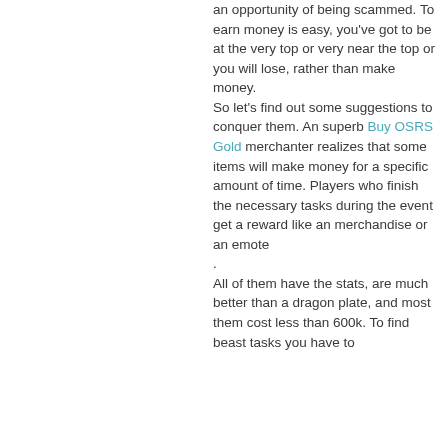an opportunity of being scammed. To earn money is easy, you've got to be at the very top or very near the top or you will lose, rather than make money.
So let's find out some suggestions to conquer them. An superb Buy OSRS Gold merchanter realizes that some items will make money for a specific amount of time. Players who finish the necessary tasks during the event get a reward like an merchandise or an emote.
All of them have the stats, are much better than a dragon plate, and most them cost less than 600k. To find beast tasks you have to